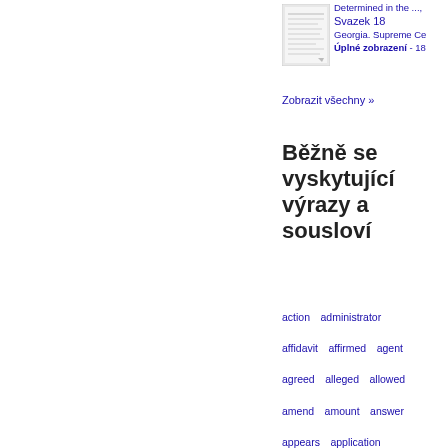[Figure (illustration): Thumbnail image of a book cover for Georgia Supreme Court, Svazek 18]
Determined in the ...
Svazek 18
Georgia. Supreme Ce
Úplné zobrazení - 18
Zobrazit všechny »
Běžně se vyskytující výrazy a sousloví
action  administrator  affidavit  affirmed  agent  agreed  alleged  allowed  amend  amount  answer  appears  application  authority  Bank  bill  bond  brought  cause  charge  claim